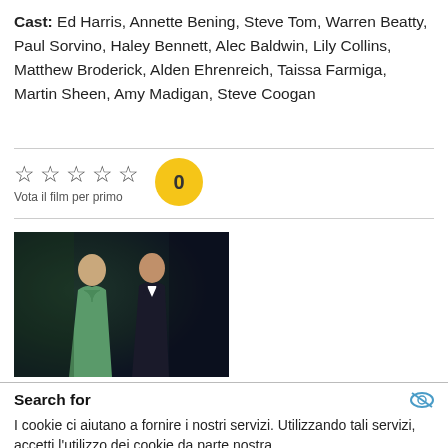Cast: Ed Harris, Annette Bening, Steve Tom, Warren Beatty, Paul Sorvino, Haley Bennett, Alec Baldwin, Lily Collins, Matthew Broderick, Alden Ehrenreich, Taissa Farmiga, Martin Sheen, Amy Madigan, Steve Coogan
[Figure (other): Star rating widget showing 5 empty stars and a yellow circle with '0' indicating no votes yet, with text 'Vota il film per primo']
[Figure (photo): Movie still showing a woman in a green satin dress and a man in a black tuxedo standing together against a dark background]
Search for
I cookie ci aiutano a fornire i nostri servizi. Utilizzando tali servizi, accetti l'utilizzo dei cookie da parte nostra.
OK   mostra_dettagli